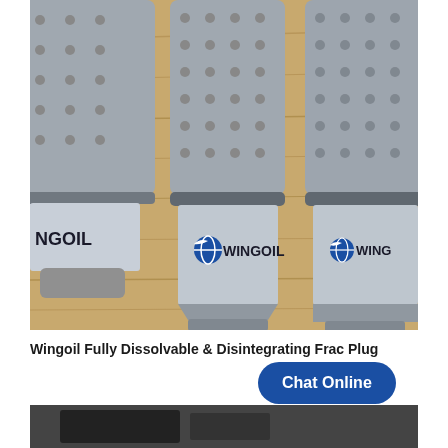[Figure (photo): Three Wingoil branded fully dissolvable and disintegrating frac plugs laid horizontally on a wooden surface. Each plug is cylindrical with a threaded metal shaft at the bottom and a conical middle section bearing the Wingoil logo (blue globe with wing). The casings are grey/silver colored.]
Wingoil Fully Dissolvable & Disintegrating Frac Plug
[Figure (photo): Partial view of a second product photo, appearing to show equipment on a dark background, cut off at the bottom of the page.]